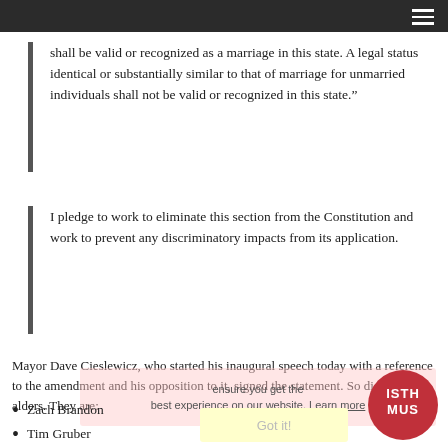shall be valid or recognized as a marriage in this state. A legal status identical or substantially similar to that of marriage for unmarried individuals shall not be valid or recognized in this state.”
I pledge to work to eliminate this section from the Constitution and work to prevent any discriminatory impacts from its application.
Mayor Dave Cieslewicz, who started his inaugural speech today with a reference to the amendment and his opposition to it, signed the statement. So did ten alders. They are:
Zach Brandon
Tim Gruber
Julia Kerr